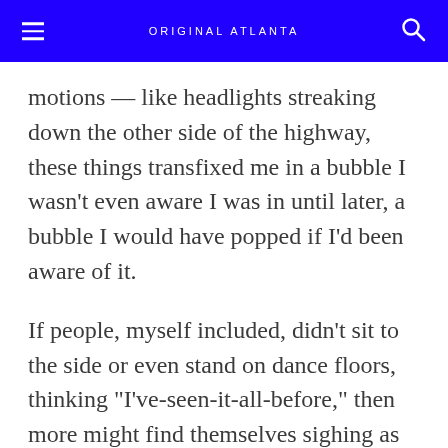ORIGINAL ATLANTA
motions — like headlights streaking down the other side of the highway, these things transfixed me in a bubble I wasn't even aware I was in until later, a bubble I would have popped if I'd been aware of it.
If people, myself included, didn't sit to the side or even stand on dance floors, thinking "I've-seen-it-all-before," then more might find themselves sighing as